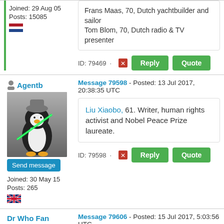Joined: 29 Aug 05
Posts: 15085
Frans Maas, 70, Dutch yachtbuilder and sailor
Tom Blom, 70, Dutch radio & TV presenter
ID: 79469 · Reply Quote
Agentb
Message 79598 - Posted: 13 Jul 2017, 20:38:35 UTC
Liu Xiaobo, 61. Writer, human rights activist and Nobel Peace Prize laureate.
ID: 79598 · Reply Quote
Joined: 30 May 15
Posts: 265
Dr Who Fan
Message 79606 - Posted: 15 Jul 2017, 5:03:56 UTC